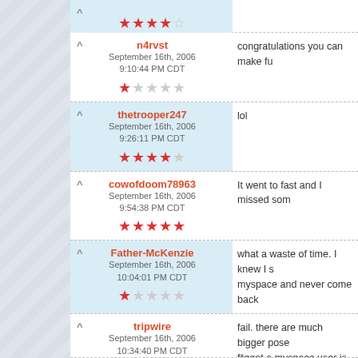[partial/cropped top row] stars rating
n4rvst | September 16th, 2006 9:10:44 PM CDT | 1 star | congratulations you can make fu
thetrooper247 | September 16th, 2006 9:26:11 PM CDT | 4 stars | lol
cowofdoom78963 | September 16th, 2006 9:54:38 PM CDT | 5 stars | It went to fast and I missed som
Father-McKenzie | September 16th, 2006 10:04:01 PM CDT | 1 star | what a waste of time. I knew I s myspace and never come back
tripwire | September 16th, 2006 10:34:40 PM CDT | fail. there are much bigger pose f*ggot a myspace user is, make